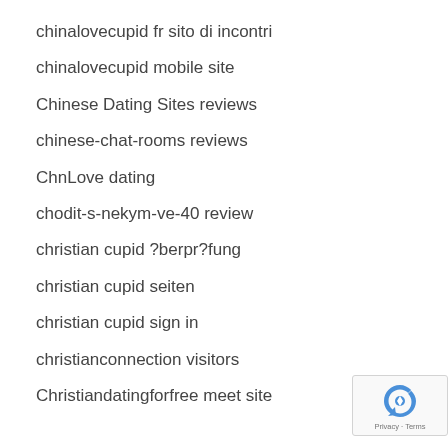chinalovecupid fr sito di incontri
chinalovecupid mobile site
Chinese Dating Sites reviews
chinese-chat-rooms reviews
ChnLove dating
chodit-s-nekym-ve-40 review
christian cupid ?berpr?fung
christian cupid seiten
christian cupid sign in
christianconnection visitors
Christiandatingforfree meet site